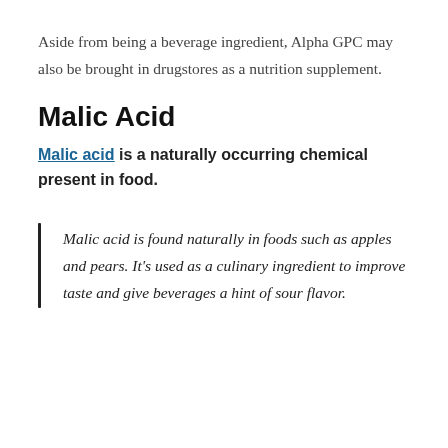Aside from being a beverage ingredient, Alpha GPC may also be brought in drugstores as a nutrition supplement.
Malic Acid
Malic acid is a naturally occurring chemical present in food.
Malic acid is found naturally in foods such as apples and pears. It's used as a culinary ingredient to improve taste and give beverages a hint of sour flavor.